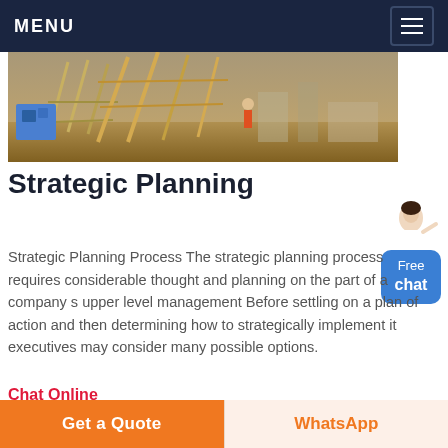MENU
[Figure (photo): Construction site with machinery, scaffolding, and workers in background]
Strategic Planning
Strategic Planning Process The strategic planning process requires considerable thought and planning on the part of a company s upper level management Before settling on a plan of action and then determining how to strategically implement it executives may consider many possible options.
Chat Online
[Figure (photo): Industrial interior with large cylindrical ducts or tanks hanging from ceiling]
Get a Quote | WhatsApp